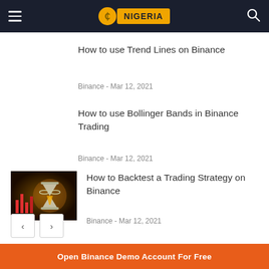NIGERIA
How to use Trend Lines on Binance
Binance - Mar 12, 2021
How to use Bollinger Bands in Binance Trading
Binance - Mar 12, 2021
[Figure (photo): Hourglass with trading candlestick charts in background]
How to Backtest a Trading Strategy on Binance
Binance - Mar 12, 2021
Open Binance Demo Account For Free